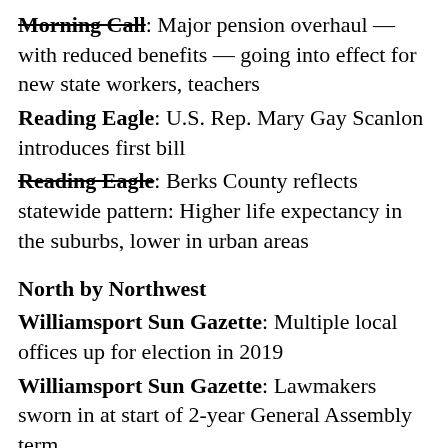Morning Call: Major pension overhaul — with reduced benefits — going into effect for new state workers, teachers
Reading Eagle: U.S. Rep. Mary Gay Scanlon introduces first bill
Reading Eagle: Berks County reflects statewide pattern: Higher life expectancy in the suburbs, lower in urban areas
North by Northwest
Williamsport Sun Gazette: Multiple local offices up for election in 2019
Williamsport Sun Gazette: Lawmakers sworn in at start of 2-year General Assembly term
Williamsport Sun Gazette: $4.2M contract Ok'd for system
Centre Daily Times: What will downtown